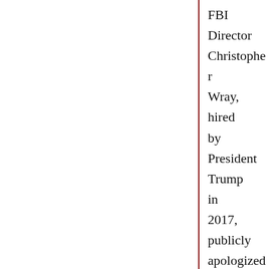FBI Director Christopher Wray, hired by President Trump in 2017, publicly apologized. The “fundamental errors” made in the Nassar case,